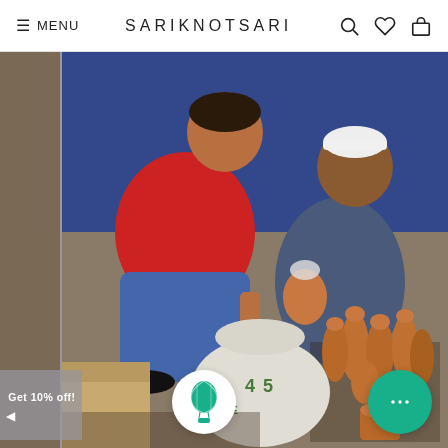≡ MENU  SARIKNOTSARI
[Figure (photo): Two men sitting on the floor in a workshop or storage room. One man in a red shirt is crouching and examining something, the other man in a white cap and blue outfit is sitting cross-legged holding a copper vessel. In the foreground are multiple shiny copper bottles/containers and a white sack labeled '45'.]
Get 10% off!